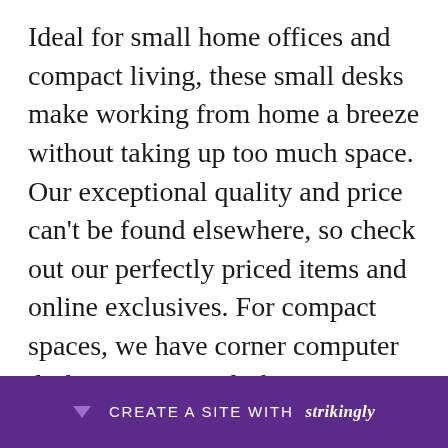Ideal for small home offices and compact living, these small desks make working from home a breeze without taking up too much space. Our exceptional quality and price can't be found elsewhere, so check out our perfectly priced items and online exclusives. For compact spaces, we have corner computer desks. Computer desks in a variety of finishes, colors and styles are sure to suit your space. Once you've selected a desk, it's time to add on other storage pieces. As an added bonus, all of our desks have been designed to be easy [to assemble]... coff[ee table style, one] of
CREATE A SITE WITH strikingly